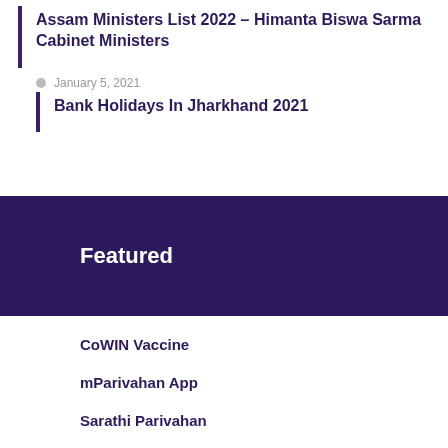Assam Ministers List 2022 – Himanta Biswa Sarma Cabinet Ministers
January 5, 2021
Bank Holidays In Jharkhand 2021
Featured
CoWIN Vaccine
mParivahan App
Sarathi Parivahan
DigiLocker App
Parivahan Services
Aadhar Card
mAadhaar App